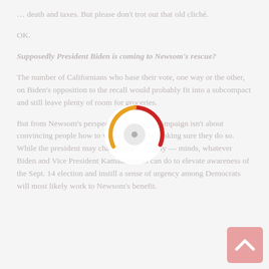… death and taxes. But please don't trot out that old cliché.
OK.
Supposedly President Biden is coming to Newsom's rescue?
The number of Californians who base their vote, one way or the other, on Biden's opposition to the recall would probably fit into a subcompact and still leave plenty of room for groceries.
But from Newsom's perspective, the recall campaign isn't about convincing people how to vote so much as making sure they do so. While the president may change few — if any — minds, whatever Biden and Vice President Kamala Harris can do to elevate awareness of the Sept. 14 election and instill a sense of urgency among Democrats will most likely work to Newsom's benefit.
[Figure (other): Loading spinner overlay with red and orange/yellow arc segments on a white circular background]
[Figure (other): Scroll-to-top button (pink/salmon background with white upward arrow chevron)]